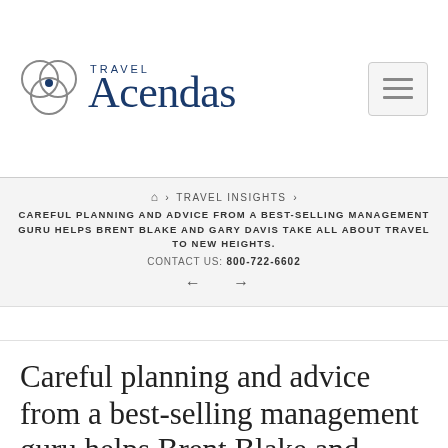[Figure (logo): Acendas Travel logo with interlocking circles and serif text]
🏠 › TRAVEL INSIGHTS › CAREFUL PLANNING AND ADVICE FROM A BEST-SELLING MANAGEMENT GURU HELPS BRENT BLAKE AND GARY DAVIS TAKE ALL ABOUT TRAVEL TO NEW HEIGHTS. CONTACT US: 800-722-6602
Careful planning and advice from a best-selling management guru helps Brent Blake and Gary Davis take All About Travel to new